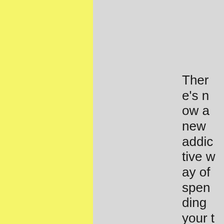[Figure (other): Yellow textured panel on the left third of the page, light gray panel in the middle, white tab element in the top right corner, and a gray panel on the far right containing vertically word-wrapped text.]
There's now a new addictive way of spending your time by browsing